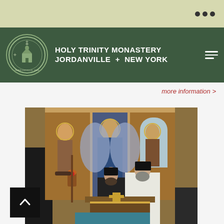Holy Trinity Monastery – Jordanville + New York – website screenshot
HOLY TRINITY MONASTERY
JORDANVILLE + NEW YORK
more information >
[Figure (photo): Orthodox Christian liturgical service inside a chapel decorated with Byzantine-style icons. Clergy in white vestments perform a service at the altar. One priest holds a censer with a red lamp. Colorful religious frescoes are visible on the walls.]